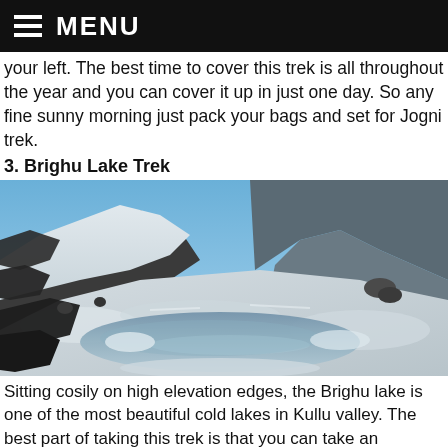MENU
your left. The best time to cover this trek is all throughout the year and you can cover it up in just one day. So any fine sunny morning just pack your bags and set for Jogni trek.
3. Brighu Lake Trek
[Figure (photo): A snow-covered mountain landscape with a partially frozen lake (Brighu Lake) nestled in the snowy terrain, with rocky slopes and a clear blue sky in the background.]
Sitting cosily on high elevation edges, the Brighu lake is one of the most beautiful cold lakes in Kullu valley. The best part of taking this trek is that you can take an elevation of 14,000 feet and get to see snow covered grounds at Rola Kholi and Pandu Ropa. If it is a sunny day, well you can enjoy the beautiful view of sun casting its image on the lake. While trekking you come across many old towns,